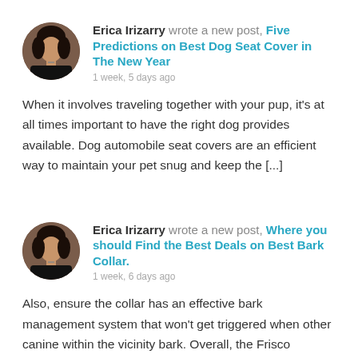[Figure (photo): Circular avatar photo of Erica Irizarry, a woman with dark hair]
Erica Irizarry wrote a new post, Five Predictions on Best Dog Seat Cover in The New Year
1 week, 5 days ago
When it involves traveling together with your pup, it's at all times important to have the right dog provides available. Dog automobile seat covers are an efficient way to maintain your pet snug and keep the [...]
[Figure (photo): Circular avatar photo of Erica Irizarry, a woman with dark hair]
Erica Irizarry wrote a new post, Where you should Find the Best Deals on Best Bark Collar.
1 week, 6 days ago
Also, ensure the collar has an effective bark management system that won't get triggered when other canine within the vicinity bark. Overall, the Frisco Rechargeable Dog Training Collar is a good choice in case y [...]